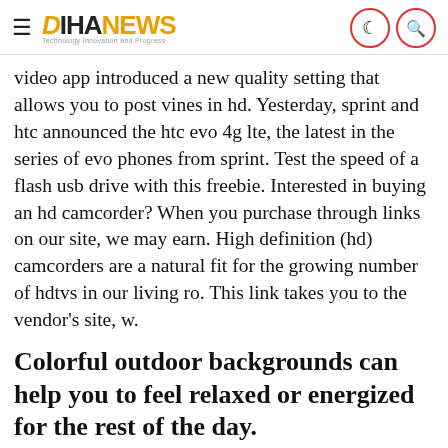DIHANEWS
video app introduced a new quality setting that allows you to post vines in hd. Yesterday, sprint and htc announced the htc evo 4g lte, the latest in the series of evo phones from sprint. Test the speed of a flash usb drive with this freebie. Interested in buying an hd camcorder? When you purchase through links on our site, we may earn. High definition (hd) camcorders are a natural fit for the growing number of hdtvs in our living ro. This link takes you to the vendor's site, w.
Colorful outdoor backgrounds can help you to feel relaxed or energized for the rest of the day.
While the device is larg. Techradar is supported by its audience. By scott dunn pcworld | today's best tech